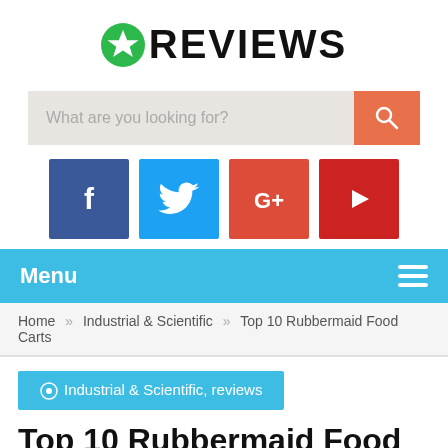★REVIEWS
[Figure (screenshot): Search bar with placeholder 'What are you looking for?' and orange search button with magnifying glass icon]
[Figure (infographic): Social media icons row: Facebook (blue), Twitter (light blue), Google+ (red-orange), YouTube (dark red)]
Menu ≡
Home » Industrial & Scientific » Top 10 Rubbermaid Food Carts
📍 Industrial & Scientific, reviews
Top 10 Rubbermaid Food Carts